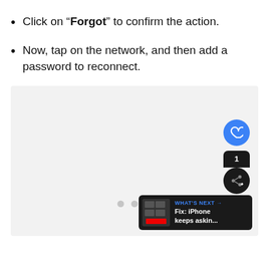Click on “Forgot” to confirm the action.
Now, tap on the network, and then add a password to reconnect.
[Figure (screenshot): A light gray placeholder image area with three gray dots at the bottom center, a blue heart button at the top right, a black share button with count badge at the right, and a 'What's Next' card at the bottom right showing 'Fix: iPhone keeps askin...']